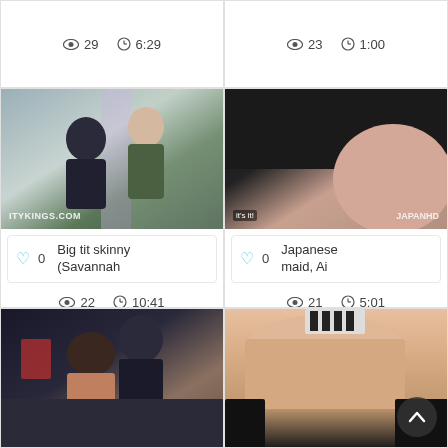👁 29  🕐 6:29
👁 23  🕐 1:00
[Figure (photo): Video thumbnail showing two people at a doorway, ITYKINGS.COM watermark]
[Figure (photo): Video thumbnail, JAPANHD watermark]
♡ 0  Big tit skinny (Savannah
♡ 0  Japanese maid, Ai
👁 22  🕐 10:41
👁 21  🕐 5:01
[Figure (photo): Video thumbnail showing adult content]
[Figure (photo): Video thumbnail showing adult content with scroll-to-top button overlay]